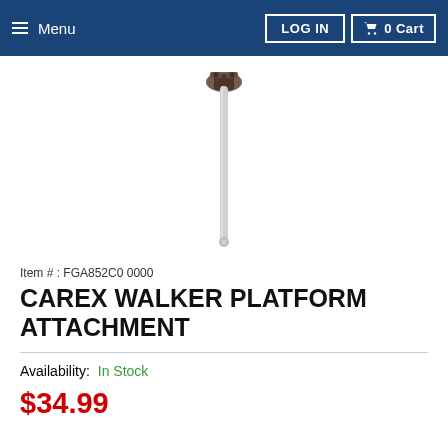Menu  LOG IN  0 Cart
[Figure (photo): Product photo of Carex Walker Platform Attachment — a long silver metal tube with a mounting bracket/clamp at the top and a rounded end at the bottom, shown against a white background.]
Item # : FGA852C0 0000
CAREX WALKER PLATFORM ATTACHMENT
Availability: In Stock
$34.99